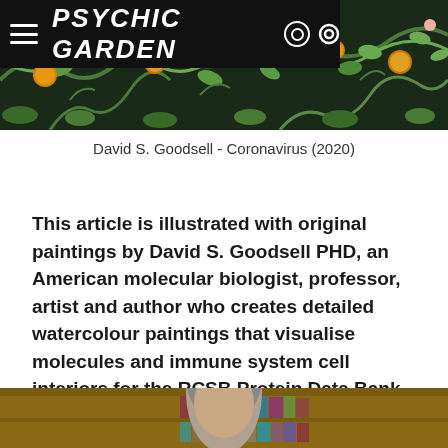PSYCHIC GARDEN
[Figure (illustration): Decorative botanical illustration with orange fruits, green leaves and vines on dark background — header image for the article]
David S. Goodsell - Coronavirus (2020)
This article is illustrated with original paintings by David S. Goodsell PHD, an American molecular biologist, professor, artist and author who creates detailed watercolour paintings that visualise molecules and immune system cell interiors for the RCSB Protein Data Bank.
[Figure (photo): Photograph of a person with grey hair sitting in front of bookshelves filled with books]